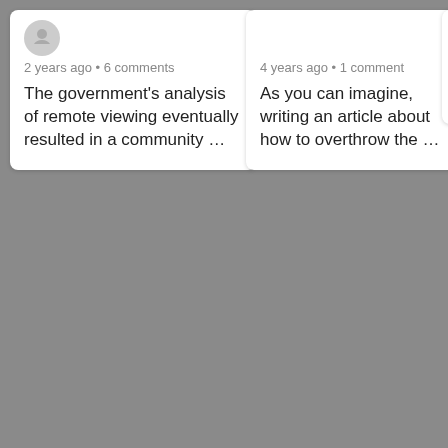[Figure (screenshot): Screenshot of article preview cards on a gray background. Left card: '2 years ago • 6 comments' meta, text 'The government's analysis of remote viewing eventually resulted in a community …'. Middle card: '4 years ago • 1 comment' meta, text 'As you can imagine, writing an article about how to overthrow the …'. Right card partially visible: '4' and partial text.]